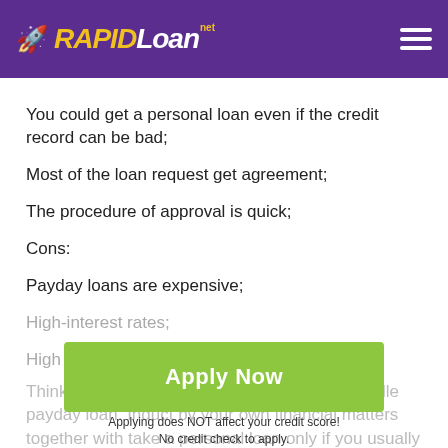RAPIDLoan.net
You could get a personal loan even if the credit record can be bad;
Most of the loan request get agreement;
The procedure of approval is quick;
Cons:
Payday loans are expensive;
High-interest rates;
High APR.
Think carefully before a person take an Taylorville payday loan. Induct by your own financial matters together with take a personal loan only if you usually are
[Figure (other): Green Apply Now button with text 'Applying does NOT affect your credit score!' and 'No credit check to apply.']